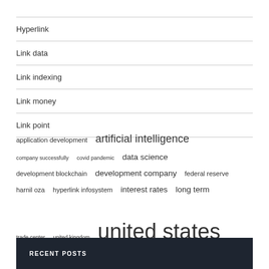Hyperlink
Link data
Link indexing
Link money
Link point
application development  artificial intelligence  company successfully  covid pandemic  data science  development blockchain  development company  federal reserve  harnil oza  hyperlink infosystem  interest rates  long term  trade center  united kingdom  united states
RECENT POSTS